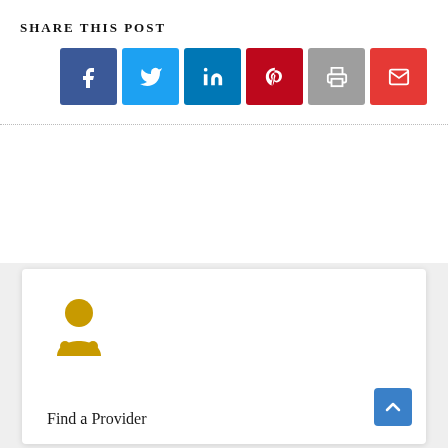SHARE THIS POST
[Figure (infographic): Row of six social media share buttons: Facebook (dark blue), Twitter (light blue), LinkedIn (blue), Pinterest (dark red), Print (gray), Email (red)]
[Figure (infographic): White card on gray background showing a gold doctor/provider icon and the text 'Find a Provider']
Find a Provider